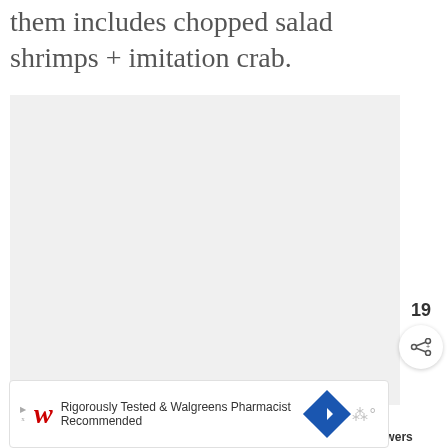them includes chopped salad shrimps + imitation crab.
[Figure (photo): Large light gray placeholder image area for a food photo]
[Figure (infographic): Social interaction buttons: heart/like button (teal circle) with count 19, and a share button (white circle)]
WHAT'S NEXT → Spicy Shrimp Skewers
[Figure (photo): Thumbnail image for Spicy Shrimp Skewers recipe]
[Figure (screenshot): Advertisement banner: Walgreens - Rigorously Tested & Walgreens Pharmacist Recommended]